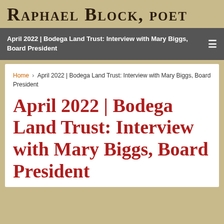Raphael Block, poet
April 2022 | Bodega Land Trust: Interview with Mary Biggs, Board President
Home › April 2022 | Bodega Land Trust: Interview with Mary Biggs, Board President
April 2022 | Bodega Land Trust: Interview with Mary Biggs, Board President